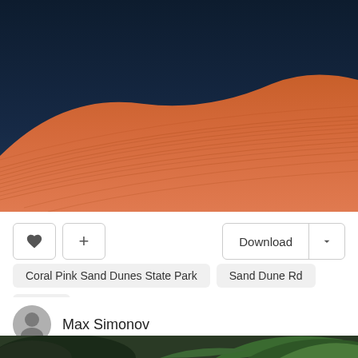[Figure (photo): A large orange-red sand dune with rippled texture against a deep dark blue sky. The dune curves across the frame with fine ridgelines visible on its surface.]
♥ | + | Download | ∨
Coral Pink Sand Dunes State Park   Sand Dune Rd   Kanab
Max Simonov
[Figure (photo): Partial view of lush green tropical foliage — a dark leafy bush on the left and large broad green leaves (likely banana plant) on the right, at the bottom of the page.]